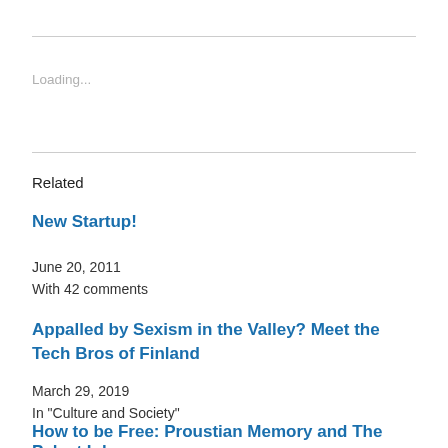Loading...
Related
New Startup!
June 20, 2011
With 42 comments
Appalled by Sexism in the Valley? Meet the Tech Bros of Finland
March 29, 2019
In "Culture and Society"
How to be Free: Proustian Memory and The Palest Ink